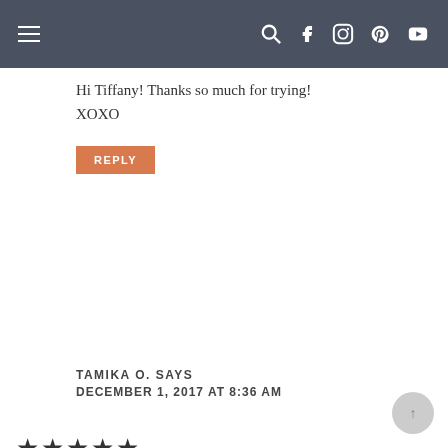Navigation bar with hamburger menu and social icons
Hi Tiffany! Thanks so much for trying!
XOXO
REPLY
TAMIKA O. SAYS
DECEMBER 1, 2017 AT 8:36 AM
★★★★★
This was a BIG hit. It will be added as a regular Thanksgiving dish. The only issue I had was that I had to cook them for about